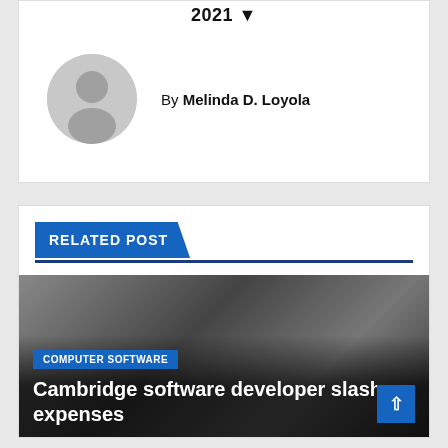2021 ▼
[Figure (illustration): Grey circular avatar/profile placeholder icon with silhouette of a person]
By Melinda D. Loyola
RELATED POST
[Figure (photo): Blurred dark photo of what appears to be electronic or computer equipment]
COMPUTER SOFTWARE
Cambridge software developer slashes expenses